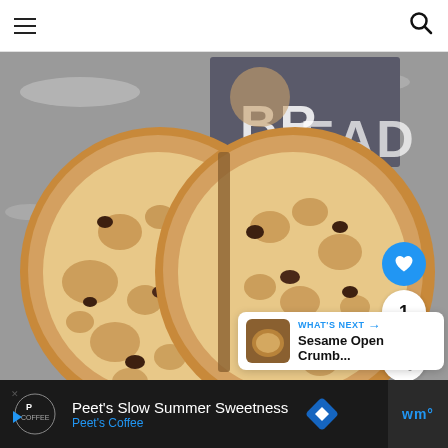Navigation bar with hamburger menu and search icon
[Figure (photo): Cross-section of sourdough bread loaf with raisins, showing open crumb structure. Two halves placed side by side on a grey surface. A book or magazine with 'BREAD' text visible in the background.]
1
WHAT'S NEXT → Sesame Open Crumb...
Peet's Slow Summer Sweetness
Peet's Coffee